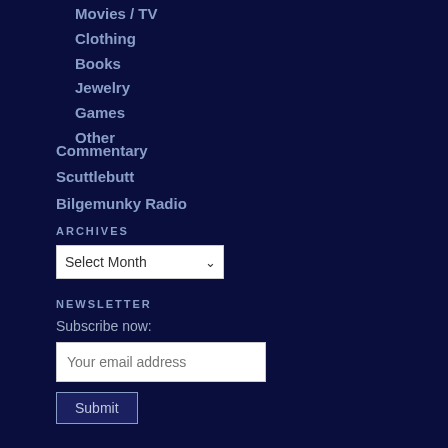Movies / TV
Clothing
Books
Jewelry
Games
Other
Commentary
Scuttlebutt
Bilgemunky Radio
ARCHIVES
Select Month
NEWSLETTER
Subscribe now:
Your email address
Submit